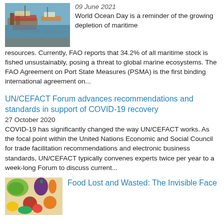[Figure (photo): Harbor/fishing boats scene with water reflection]
09 June 2021
World Ocean Day is a reminder of the growing depletion of maritime resources. Currently, FAO reports that 34.2% of all maritime stock is fished unsustainably, posing a threat to global marine ecosystems. The FAO Agreement on Port State Measures (PSMA) is the first binding international agreement on...
UN/CEFACT Forum advances recommendations and standards in support of COVID-19 recovery
27 October 2020
COVID-19 has significantly changed the way UN/CEFACT works. As the focal point within the United Nations Economic and Social Council for trade facilitation recommendations and electronic business standards, UN/CEFACT typically convenes experts twice per year to a week-long Forum to discuss current...
[Figure (photo): Colorful fresh vegetables and fruits]
Food Lost and Wasted: The Invisible Face